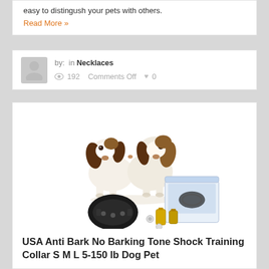easy to distingush your pets with others.
Read More »
by: in Necklaces
192   Comments Off  0
[Figure (photo): Two beagle puppies sitting together, and below them a dog training collar product with its packaging box and batteries.]
USA Anti Bark No Barking Tone Shock Training Collar S M L 5-150 lb Dog Pet